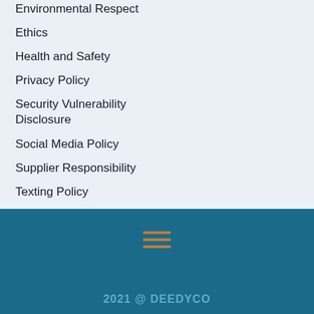Environmental Respect
Ethics
Health and Safety
Privacy Policy
Security Vulnerability Disclosure
Social Media Policy
Supplier Responsibility
Texting Policy
User Guidelines
2021 @ DEEDYCO